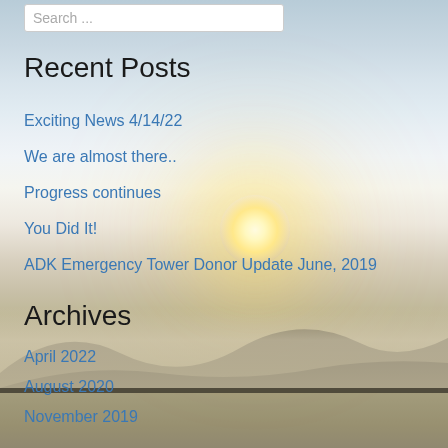Search ...
Recent Posts
Exciting News 4/14/22
We are almost there..
Progress continues
You Did It!
ADK Emergency Tower Donor Update June, 2019
Archives
April 2022
August 2020
November 2019
June 2019
May 2019
August 2018